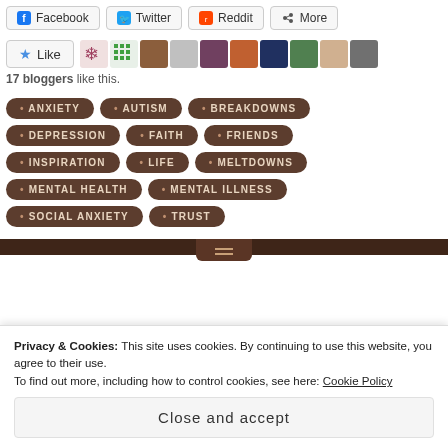[Figure (screenshot): Social share buttons row: Facebook, Twitter, Reddit, More]
[Figure (screenshot): Like button with star icon, followed by a strip of 10 blogger avatar thumbnails]
17 bloggers like this.
ANXIETY
AUTISM
BREAKDOWNS
DEPRESSION
FAITH
FRIENDS
INSPIRATION
LIFE
MELTDOWNS
MENTAL HEALTH
MENTAL ILLNESS
SOCIAL ANXIETY
TRUST
Privacy & Cookies: This site uses cookies. By continuing to use this website, you agree to their use. To find out more, including how to control cookies, see here: Cookie Policy. Close and accept.